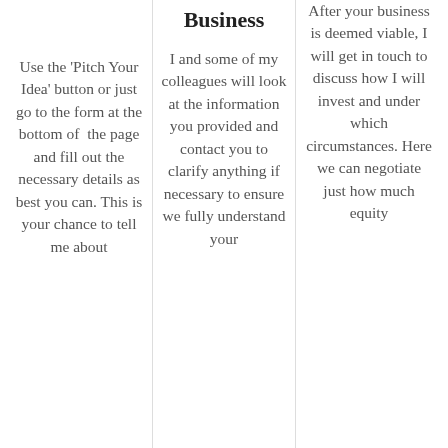Use the 'Pitch Your Idea' button or just go to the form at the bottom of the page and fill out the necessary details as best you can. This is your chance to tell me about
Business
I and some of my colleagues will look at the information you provided and contact you to clarify anything if necessary to ensure we fully understand your
After your business is deemed viable, I will get in touch to discuss how I will invest and under which circumstances. Here we can negotiate just how much equity